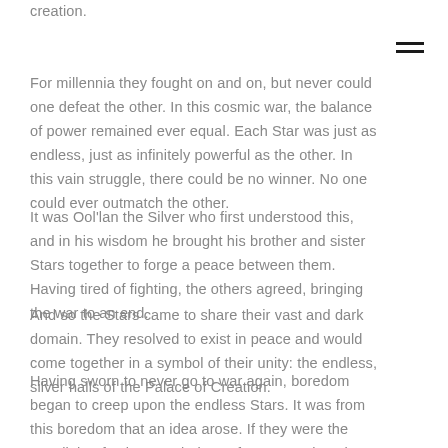creation.
For millennia they fought on and on, but never could one defeat the other. In this cosmic war, the balance of power remained ever equal. Each Star was just as endless, just as infinitely powerful as the other. In this vain struggle, there could be no winner. No one could ever outmatch the other.
It was Ool'lan the Silver who first understood this, and in his wisdom he brought his brother and sister Stars together to forge a peace between them. Having tired of fighting, the others agreed, bringing the war to an end.
And so the Stars came to share their vast and dark domain. They resolved to exist in peace and would come together in a symbol of their unity: the endless, silver halls of the Palace of Creation.
Having sworn to never go to war again, boredom began to creep upon the endless Stars. It was from this boredom that an idea arose. If they were the very light of existence, beings of pure creation, then surely they should create. This